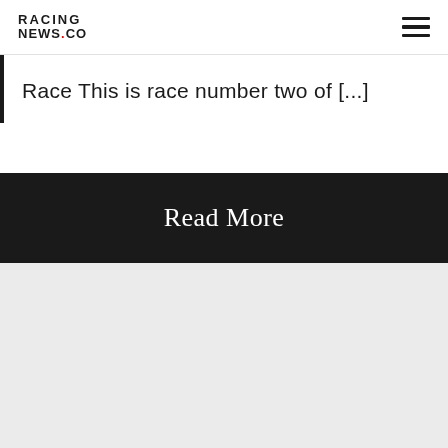RACING NEWS.CO
Race This is race number two of [...]
Read More